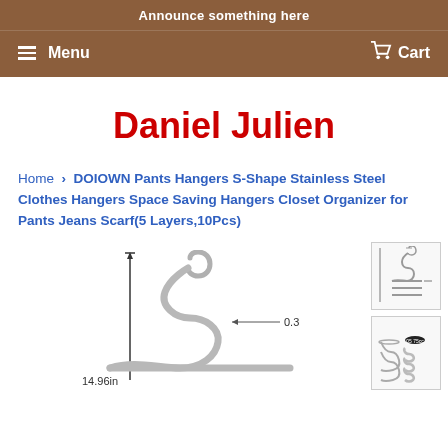Announce something here
Menu   Cart
Daniel Julien
Home › DOIOWN Pants Hangers S-Shape Stainless Steel Clothes Hangers Space Saving Hangers Closet Organizer for Pants Jeans Scarf(5 Layers,10Pcs)
[Figure (photo): S-shaped stainless steel pants hanger with dimension labels: 0.3in width and 14.96in height, plus thumbnail images of the product on the right side]